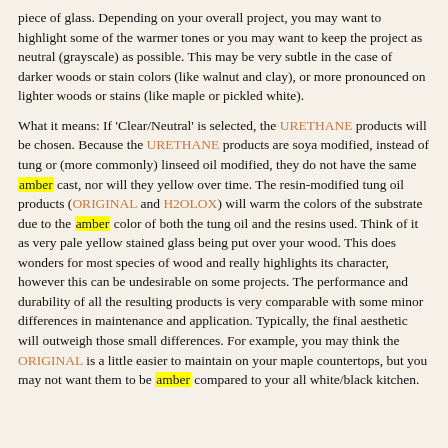piece of glass. Depending on your overall project, you may want to highlight some of the warmer tones or you may want to keep the project as neutral (grayscale) as possible. This may be very subtle in the case of darker woods or stain colors (like walnut and clay), or more pronounced on lighter woods or stains (like maple or pickled white).
What it means: If 'Clear/Neutral' is selected, the URETHANE products will be chosen. Because the URETHANE products are soya modified, instead of tung or (more commonly) linseed oil modified, they do not have the same amber cast, nor will they yellow over time. The resin-modified tung oil products (ORIGINAL and H2OLOX) will warm the colors of the substrate due to the amber color of both the tung oil and the resins used. Think of it as very pale yellow stained glass being put over your wood. This does wonders for most species of wood and really highlights its character, however this can be undesirable on some projects. The performance and durability of all the resulting products is very comparable with some minor differences in maintenance and application. Typically, the final aesthetic will outweigh those small differences. For example, you may think the ORIGINAL is a little easier to maintain on your maple countertops, but you may not want them to be amber compared to your all white/black kitchen.